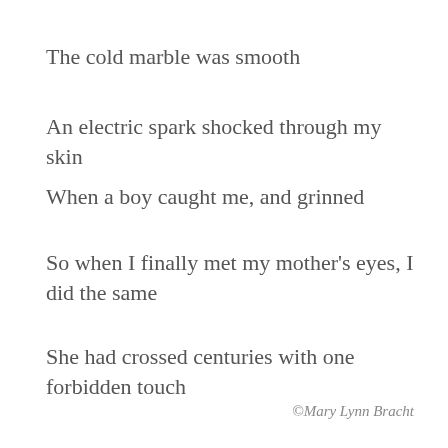The cold marble was smooth
An electric spark shocked through my skin
When a boy caught me, and grinned
So when I finally met my mother’s eyes, I did the same
She had crossed centuries with one forbidden touch
©Mary Lynn Bracht